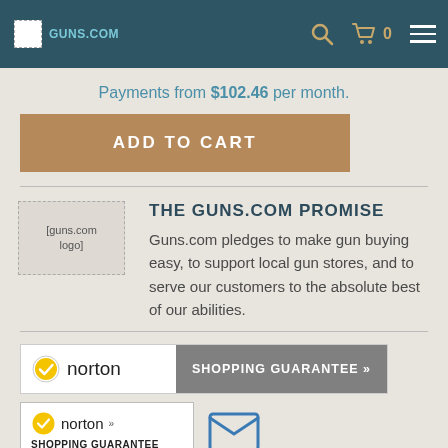guns.com logo | search icon | cart 0 | menu
Payments from $102.46 per month.
ADD TO CART
[Figure (logo): guns.com logo placeholder image]
THE GUNS.COM PROMISE
Guns.com pledges to make gun buying easy, to support local gun stores, and to serve our customers to the absolute best of our abilities.
[Figure (logo): Norton Shopping Guarantee badge with shopping guarantee button]
[Figure (logo): Norton Shopping Guarantee badge (verifying...)]
[Figure (other): Email icon (envelope)]